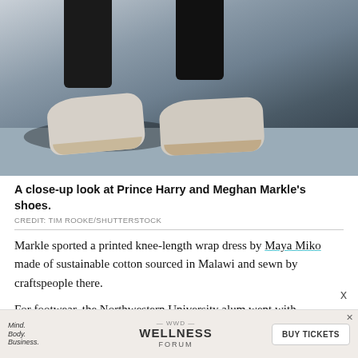[Figure (photo): Close-up photograph of Prince Harry and Meghan Markle's feet and shoes on a paved surface. Two people wearing dark trousers with light-colored sneakers/espadrilles visible, with shadows cast on the ground.]
A close-up look at Prince Harry and Meghan Markle's shoes.
CREDIT: TIM ROOKE/SHUTTERSTOCK
Markle sported a printed knee-length wrap dress by Maya Miko made of sustainable cotton sourced in Malawi and sewn by craftspeople there.
For footwear, the Northwestern University alum went with Castañer's Carina espadrille wedges. The Carina has a black canvas upper, a 3-inch wedge heel and a ribbon tie detail at the ankle. It's available to purchase on Net-a-Porter.com for just $120.
[Figure (other): Advertisement banner for WWD Mind. Body. Business. Wellness Forum with a BUY TICKETS button.]